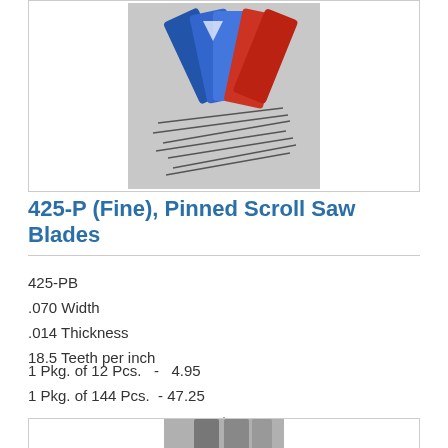[Figure (photo): Product photo showing packages of pinned scroll saw blades in blue and red packaging, with individual blades spread out in front]
425-P (Fine), Pinned Scroll Saw Blades
425-PB
.070 Width
.014 Thickness
18.5 Teeth per inch
1 Pkg. of 12 Pcs.  -  4.95
1 Pkg. of 144 Pcs.  - 47.25
[Figure (photo): Partial view of another product card showing scroll saw blades at the bottom of the page]